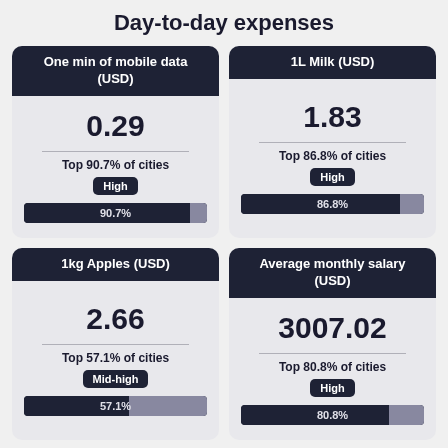Day-to-day expenses
[Figure (infographic): Infographic card: One min of mobile data (USD), value 0.29, Top 90.7% of cities, High, bar showing 90.7%]
[Figure (infographic): Infographic card: 1L Milk (USD), value 1.83, Top 86.8% of cities, High, bar showing 86.8%]
[Figure (infographic): Infographic card: 1kg Apples (USD), value 2.66, Top 57.1% of cities, Mid-high, bar showing 57.1%]
[Figure (infographic): Infographic card: Average monthly salary (USD), value 3007.02, Top 80.8% of cities, High, bar showing 80.8%]